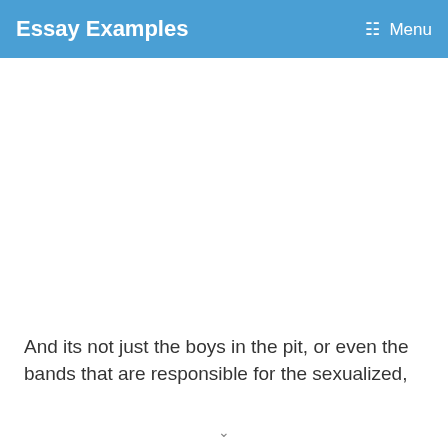Essay Examples  Menu
And its not just the boys in the pit, or even the bands that are responsible for the sexualized,